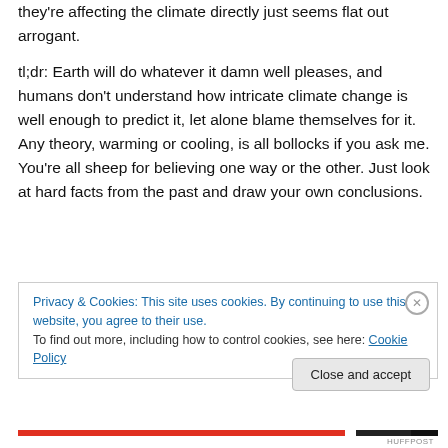they're affecting the climate directly just seems flat out arrogant.
tl;dr: Earth will do whatever it damn well pleases, and humans don't understand how intricate climate change is well enough to predict it, let alone blame themselves for it. Any theory, warming or cooling, is all bollocks if you ask me. You're all sheep for believing one way or the other. Just look at hard facts from the past and draw your own conclusions.
Privacy & Cookies: This site uses cookies. By continuing to use this website, you agree to their use.
To find out more, including how to control cookies, see here: Cookie Policy
Close and accept